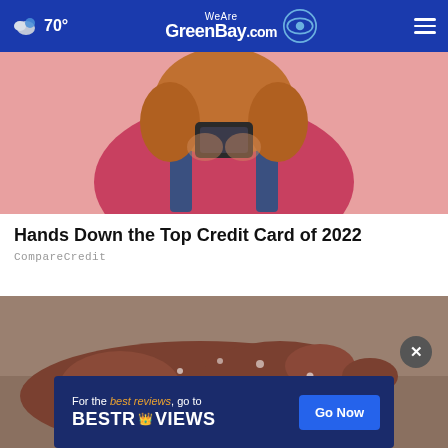70° WeAreGreenBay.com
[Figure (photo): Person in pink shirt and denim overalls holding a dark credit card up near their face, pink background]
Hands Down the Top Credit Card of 2022
CompareCredit
[Figure (photo): Close-up of a person's hand holding small white hail stones with water droplets visible]
For the best reviews, go to BESTREVIEWS  Go Now